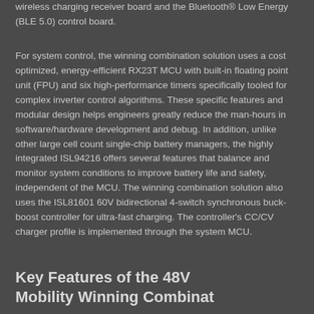wireless charging receiver board and the Bluetooth® Low Energy (BLE 5.0) control board.
For system control, the winning combination solution uses a cost optimized, energy-efficient RX23T MCU with built-in floating point unit (FPU) and six high-performance timers specifically tooled for complex inverter control algorithms. These specific features and modular design helps engineers greatly reduce the man-hours in software/hardware development and debug. In addition, unlike other large cell count single-chip battery managers, the highly integrated ISL94216 offers several features that balance and monitor system conditions to improve battery life and safety, independent of the MCU. The winning combination solution also uses the ISL81601 60V bidirectional 4-switch synchronous buck-boost controller for ultra-fast charging. The controller's CC/CV charger profile is implemented through the system MCU.
Key Features of the 48V Mobility Winning Combination